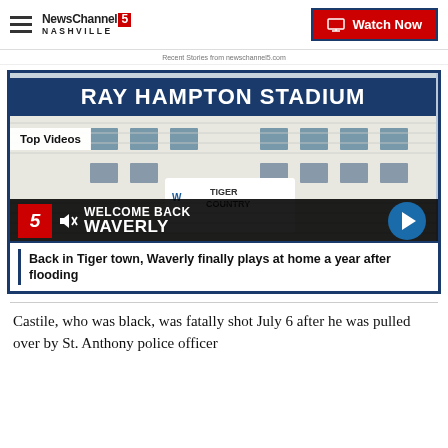NewsChannel 5 Nashville — Watch Now
Recent Stories from newschannel5.com
[Figure (screenshot): Video thumbnail showing Ray Hampton Stadium with 'Welcome Back Waverly' text overlay, Channel 5 logo badge, mute icon, and a blue play button arrow on the right.]
Back in Tiger town, Waverly finally plays at home a year after flooding
Castile, who was black, was fatally shot July 6 after he was pulled over by St. Anthony police officer